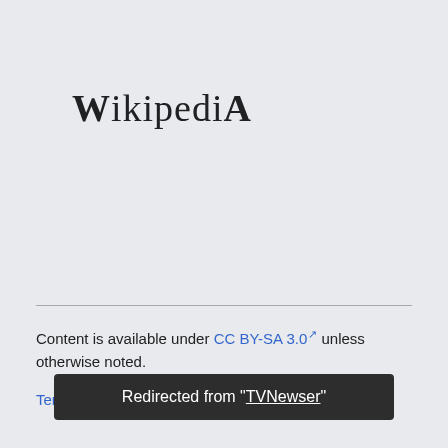Wikipedia
Content is available under CC BY-SA 3.0 unless otherwise noted.
Terms
Redirected from "TVNewser"